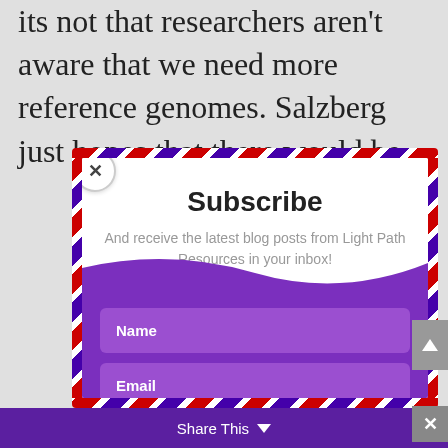its not that researchers aren't aware that we need more reference genomes. Salzberg just hopes that there would be
[Figure (screenshot): Subscribe modal popup with airmail dashed border, showing title 'Subscribe', subtitle 'And receive the latest blog posts from Light Path Resources in your inbox!', Name field, Email field, and SUBSCRIBE! button on a purple background]
Share This ∨